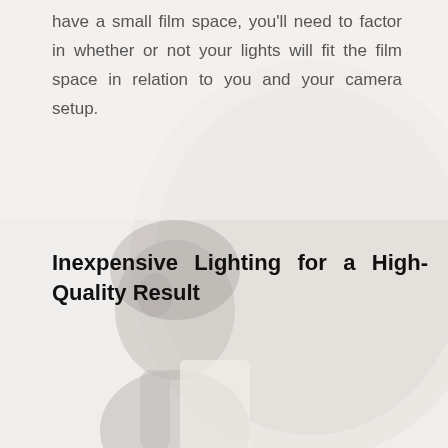have a small film space, you'll need to factor in whether or not your lights will fit the film space in relation to you and your camera setup.
[Figure (photo): A grayscale/faded photo of a person (appears to be a woman) holding something, with a large circular reflector or light modifier visible, taking up most of the lower portion of the page as a background image.]
Inexpensive Lighting for a High-Quality Result